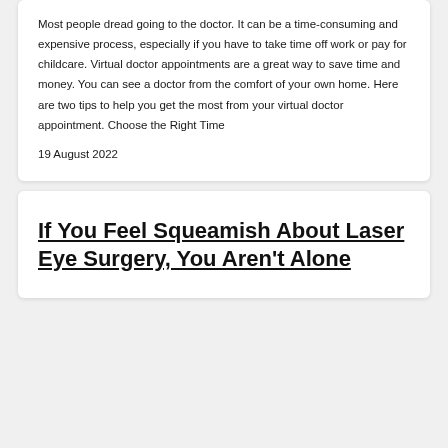Most people dread going to the doctor. It can be a time-consuming and expensive process, especially if you have to take time off work or pay for childcare. Virtual doctor appointments are a great way to save time and money. You can see a doctor from the comfort of your own home. Here are two tips to help you get the most from your virtual doctor appointment. Choose the Right Time
19 August 2022
If You Feel Squeamish About Laser Eye Surgery, You Aren't Alone